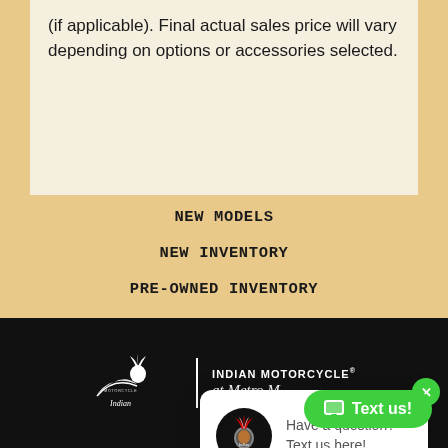(if applicable). Final actual sales price will vary depending on options or accessories selected.
NEW MODELS
NEW INVENTORY
PRE-OWNED INVENTORY
GET FINANCING
Inventory...
[Figure (screenshot): Chat popup with Indian Motorcycle logo avatar and text 'Have a question? Text us here!' with a green X close button]
[Figure (logo): Indian Motorcycle at Metro M... logo in white on black footer]
Text us!